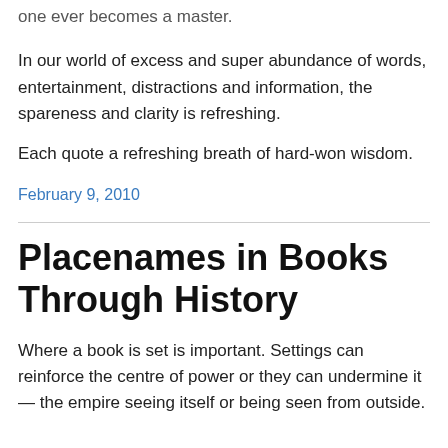one ever becomes a master.
In our world of excess and super abundance of words, entertainment, distractions and information, the spareness and clarity is refreshing.
Each quote a refreshing breath of hard-won wisdom.
February 9, 2010
Placenames in Books Through History
Where a book is set is important. Settings can reinforce the centre of power or they can undermine it — the empire seeing itself or being seen from outside.